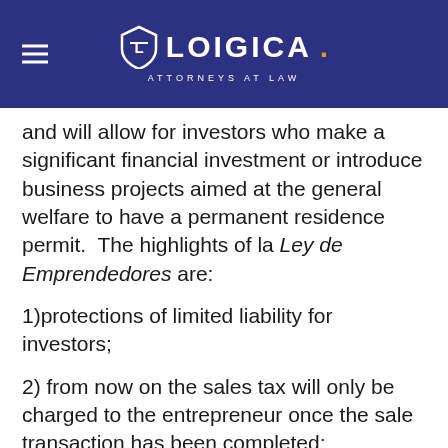LOIGICA. ATTORNEYS AT LAW
and will allow for investors who make a significant financial investment or introduce business projects aimed at the general welfare to have a permanent residence permit.  The highlights of la Ley de Emprendedores are:
1)protections of limited liability for investors;
2) from now on the sales tax will only be charged to the entrepreneur once the sale transaction has been completed;
3)expanded advantages for reinvesting; incentives for entrepreneurs interested on partnering up existing companies; new benefits on refinancing agreements; reduced start-up costs and fees;